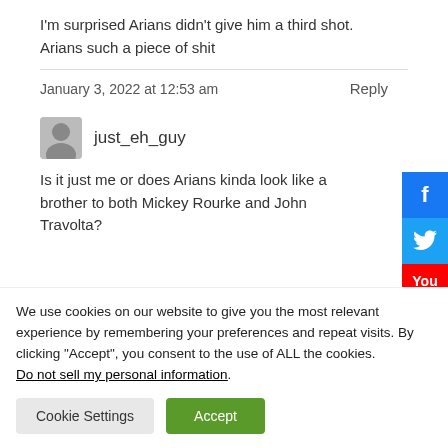I'm surprised Arians didn't give him a third shot. Arians such a piece of shit
January 3, 2022 at 12:53 am
Reply
just_eh_guy
Is it just me or does Arians kinda look like a brother to both Mickey Rourke and John Travolta?
We use cookies on our website to give you the most relevant experience by remembering your preferences and repeat visits. By clicking “Accept”, you consent to the use of ALL the cookies. Do not sell my personal information.